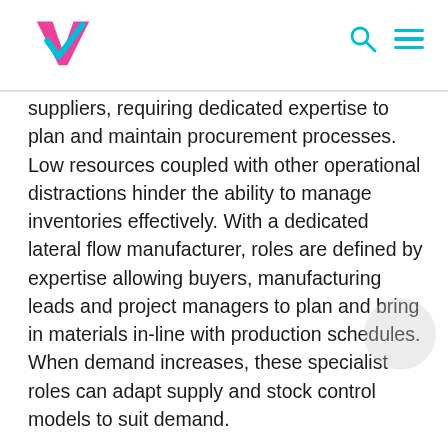VTEC MEDICAL
suppliers, requiring dedicated expertise to plan and maintain procurement processes. Low resources coupled with other operational distractions hinder the ability to manage inventories effectively. With a dedicated lateral flow manufacturer, roles are defined by expertise allowing buyers, manufacturing leads and project managers to plan and bring in materials in-line with production schedules. When demand increases, these specialist roles can adapt supply and stock control models to suit demand.
By working with contact manufacturers with strong supply chain relationships and processes, the delivery of an assay is de-risked, limiting disruptions in manufacturing schedules and delivery times.